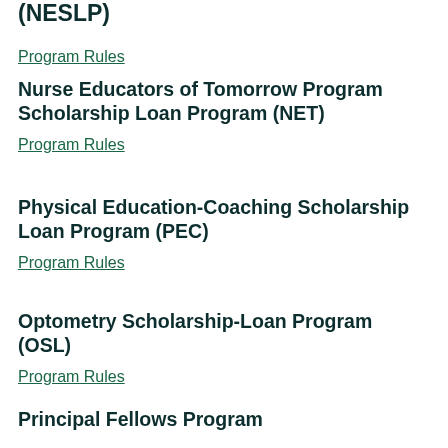(NESLP)
Program Rules
Nurse Educators of Tomorrow Program Scholarship Loan Program (NET)
Program Rules
Physical Education-Coaching Scholarship Loan Program (PEC)
Program Rules
Optometry Scholarship-Loan Program (OSL)
Program Rules
Principal Fellows Program